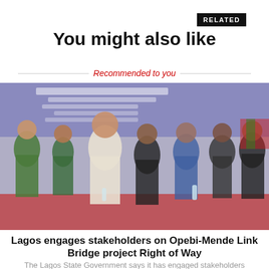RELATED
You might also like
Recommended to you
[Figure (photo): Group photo of several people standing in front of a Lagos State Government banner at an official engagement event. People are dressed in formal and traditional attire.]
Lagos engages stakeholders on Opebi-Mende Link Bridge project Right of Way
The Lagos State Government says it has engaged stakeholders